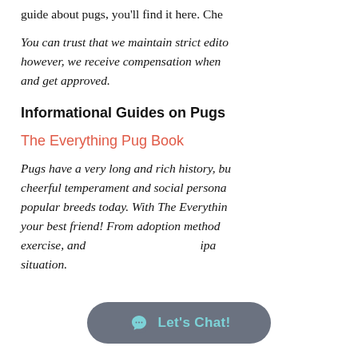guide about pugs, you'll find it here. Che
You can trust that we maintain strict edito however, we receive compensation when and get approved.
Informational Guides on Pugs
The Everything Pug Book
Pugs have a very long and rich history, bu cheerful temperament and social persona popular breeds today. With The Everythin your best friend! From adoption method exercise, and ipa situation.